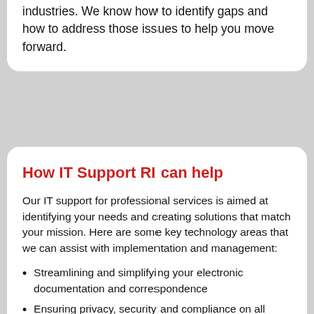Our team has knowledge that spans many different industries. We know how to identify gaps and how to address those issues to help you move forward.
How IT Support RI can help
Our IT support for professional services is aimed at identifying your needs and creating solutions that match your mission. Here are some key technology areas that we can assist with implementation and management:
Streamlining and simplifying your electronic documentation and correspondence
Ensuring privacy, security and compliance on all levels
Managing risk with maintenance and software licensing
Regulatory compliance
Upgrading legacy systems and manual processes in